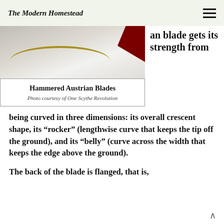The Modern Homestead
[Figure (photo): Close-up photo of a scythe blade (hammered Austrian blade) with a red handle component visible, showing the curved metal blade against a light background.]
Hammered Austrian Blades
Photo courtesy of One Scythe Revolution
an blade gets its strength from being curved in three dimensions: its overall crescent shape, its “rocker” (lengthwise curve that keeps the tip off the ground), and its “belly” (curve across the width that keeps the edge above the ground).
The back of the blade is flanged, that is,